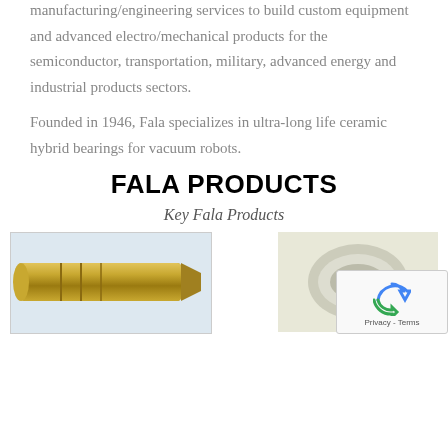manufacturing/engineering services to build custom equipment and advanced electro/mechanical products for the semiconductor, transportation, military, advanced energy and industrial products sectors.
Founded in 1946, Fala specializes in ultra-long life ceramic hybrid bearings for vacuum robots.
FALA PRODUCTS
Key Fala Products
[Figure (photo): Close-up photo of a metallic brass/gold cylindrical mechanical part, likely a bearing or precision machined component]
[Figure (photo): Photo of a light-colored ceramic or white mechanical component, likely a bearing]